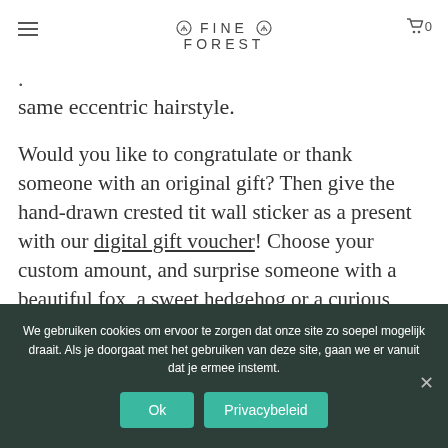Fine Forest — navigation header with logo and cart
. same eccentric hairstyle.
Would you like to congratulate or thank someone with an original gift? Then give the hand-drawn crested tit wall sticker as a present with our digital gift voucher! Choose your custom amount, and surprise someone with a beautiful fox, a sweet hedgehog or a curious squirrel. Happy giving!
We gebruiken cookies om ervoor te zorgen dat onze site zo soepel mogelijk draait. Als je doorgaat met het gebruiken van deze site, gaan we er vanuit dat je ermee instemt.